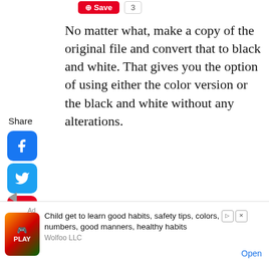[Figure (screenshot): Pinterest Save button (red) and share count badge (showing '3') at top center of page]
No matter what, make a copy of the original file and convert that to black and white. That gives you the option of using either the color version or the black and white without any alterations.
[Figure (infographic): Social media share sidebar with icons: Facebook (blue), Twitter (blue), Pinterest (red), Tumblr (dark blue), Reddit (orange-red), WhatsApp (green), Messenger (blue). Share label visible.]
AUTOMATIC CORRECTION. Photoshop is the most well known software of professional and advance photographers. This software comes with the option of either manually or automatically correcting color fringing. In the software it's located under the filters tab in lens correction."
[Figure (screenshot): Advertisement bar at the bottom: 'Ad' label, colorful game app image (Play), text 'Child get to learn good habits, safety tips, colors, numbers, good manners, healthy habits', company 'Wolfoo LLC', Open button]
Child get to learn good habits, safety tips, colors, numbers, good manners, healthy habits
Wolfoo LLC